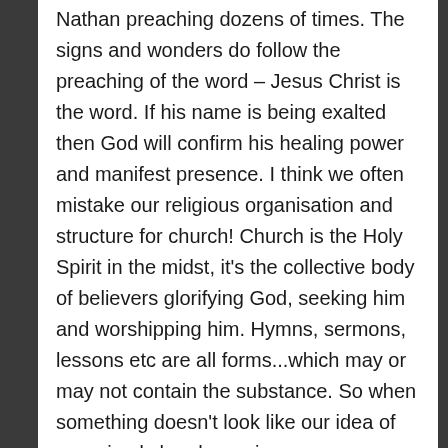Nathan preaching dozens of times. The signs and wonders do follow the preaching of the word – Jesus Christ is the word. If his name is being exalted then God will confirm his healing power and manifest presence. I think we often mistake our religious organisation and structure for church! Church is the Holy Spirit in the midst, it's the collective body of believers glorifying God, seeking him and worshipping him. Hymns, sermons, lessons etc are all forms...which may or may not contain the substance. So when something doesn't look like our idea of organised church or mirror our experience and habits in church, it doesn't mean it's not of God. Only, only, God the Holy Spirit...